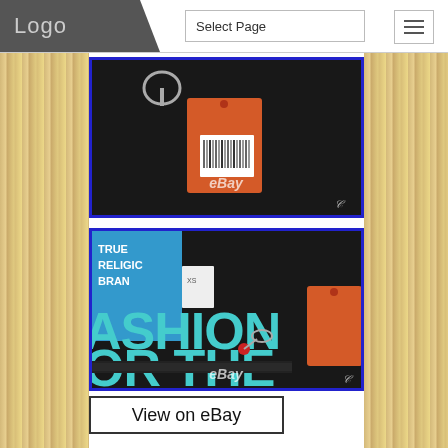Logo | Select Page
[Figure (photo): Close-up photo of a dark jacket/clothing item with an orange hang tag attached, eBay watermark visible]
[Figure (photo): Close-up photo of dark clothing with 'TRUE RELIGION BRAND' label and text reading 'FASHION' and 'OR THE' in cyan/light blue letters, orange hang tag visible, eBay watermark]
View on eBay